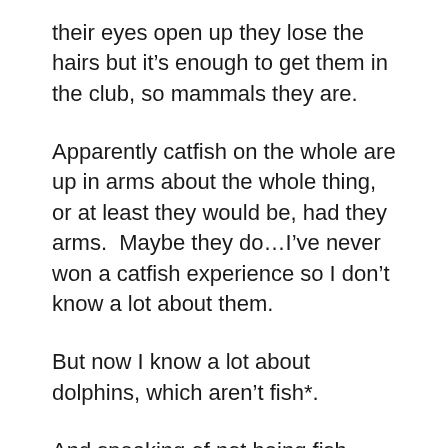their eyes open up they lose the hairs but it's enough to get them in the club, so mammals they are.
Apparently catfish on the whole are up in arms about the whole thing, or at least they would be, had they arms.  Maybe they do...I've never won a catfish experience so I don't know a lot about them.
But now I know a lot about dolphins, which aren't fish*.
And speaking of not being fish, after bidding Alex goodbye and good luck I ate a heck of a meal (not seafood, out of respect for Alex and the fact that I don't eat seafood) and sauntered down the beach for the final night of Phish Movie...